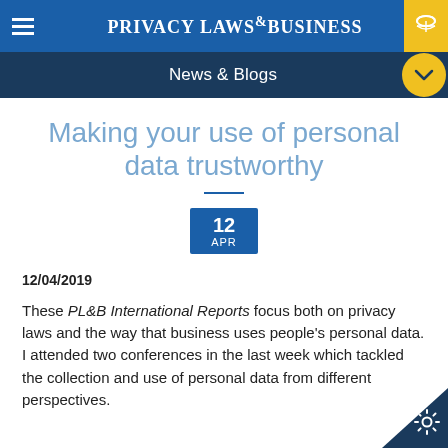PRIVACY LAWS & BUSINESS
News & Blogs
Making your use of personal data trustworthy
12
APR
12/04/2019
These PL&B International Reports focus both on privacy laws and the way that business uses people's personal data. I attended two conferences in the last week which tackled the collection and use of personal data from different perspectives.